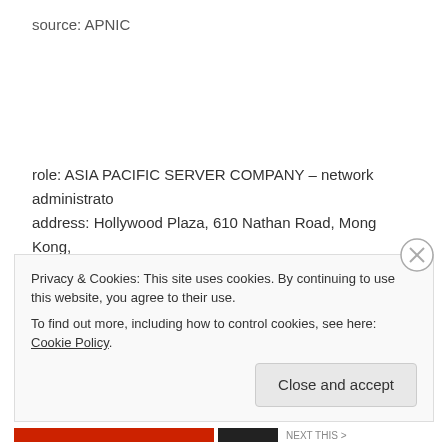source: APNIC
role: ASIA PACIFIC SERVER COMPANY – network administrato
address: Hollywood Plaza, 610 Nathan Road, Mong Kong, KLN
country: HK
phone: +85263419611
e-mail: network@apacserver.com
admin-c: APSC1-AP
Privacy & Cookies: This site uses cookies. By continuing to use this website, you agree to their use.
To find out more, including how to control cookies, see here: Cookie Policy
Close and accept